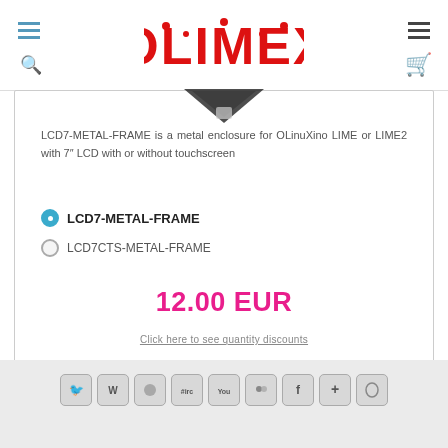OLIMEX
[Figure (photo): Partial view of product image at top of card]
LCD7-METAL-FRAME is a metal enclosure for OLinuXino LIME or LIME2 with 7" LCD with or without touchscreen
LCD7-METAL-FRAME (selected)
LCD7CTS-METAL-FRAME
12.00 EUR
Click here to see quantity discounts
1  Add to basket
Social media icons: Twitter, WordPress, GitHub, IRC, YouTube, group, Facebook, plus, Mastodon